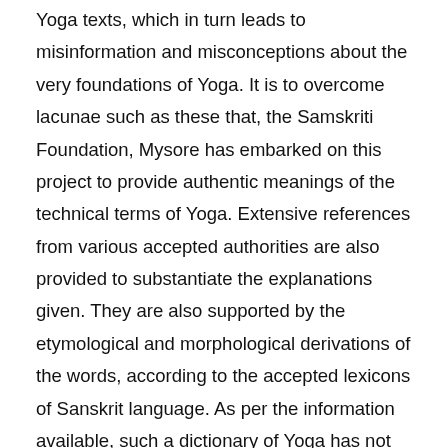Yoga texts, which in turn leads to misinformation and misconceptions about the very foundations of Yoga. It is to overcome lacunae such as these that, the Samskriti Foundation, Mysore has embarked on this project to provide authentic meanings of the technical terms of Yoga. Extensive references from various accepted authorities are also provided to substantiate the explanations given. They are also supported by the etymological and morphological derivations of the words, according to the accepted lexicons of Sanskrit language. As per the information available, such a dictionary of Yoga has not been prepared so far by any organization.
2. Project for Preparation of a Classified, Electronic